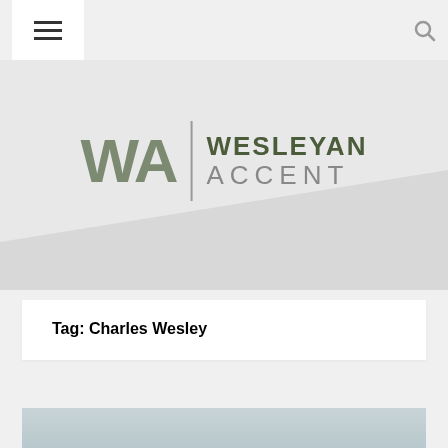[Figure (logo): Wesleyan Accent logo with WA monogram in olive green, vertical divider, and WESLEYAN ACCENT text in dark green and gray]
Tag: Charles Wesley
[Figure (photo): Partial view of a gray sky/landscape image at bottom of page]